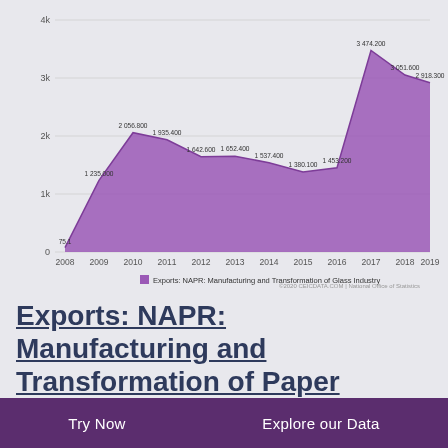[Figure (area-chart): Exports: NAPR: Manufacturing and Transformation of Glass Industry]
Exports: NAPR: Manufacturing and Transformation of Paper
1992 - 2019 | YEARLY | DZD MN | NATIONAL OFFICE OF STATISTICS
Exports: NAPR: Manufacturing and Transformation of Paper data was reported at 2,918.300 DZD mn in 2019. This records a decrease from the previous number of 3,051.600 DZD mn for 2018. Exports: NAPR: Manufacturing and Transformation of
Try Now    Explore our Data